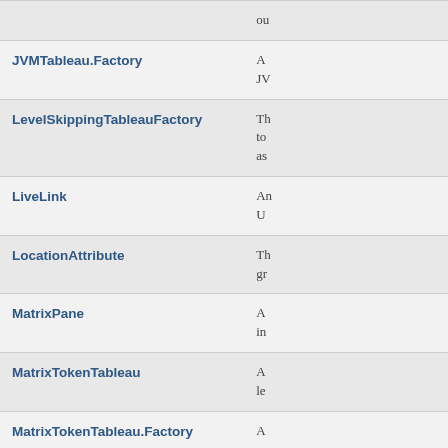| Class | Description |
| --- | --- |
| JVMTableau.Factory | A
JV |
| LevelSkippingTableauFactory | Th
to
as |
| LiveLink | An
U |
| LocationAttribute | Th
gr |
| MatrixPane | A
in |
| MatrixTokenTableau | A
le |
| MatrixTokenTableau.Factory | A |
| ModelDirectory | A |